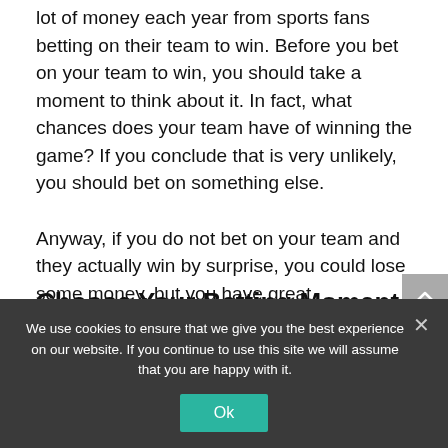lot of money each year from sports fans betting on their team to win. Before you bet on your team to win, you should take a moment to think about it. In fact, what chances does your team have of winning the game? If you conclude that is very unlikely, you should bet on something else.
Anyway, if you do not bet on your team and they actually win by surprise, you could lose some money, but you have great consolation that your team won against the odds.
Choose Your Betting Moment
We use cookies to ensure that we give you the best experience on our website. If you continue to use this site we will assume that you are happy with it.